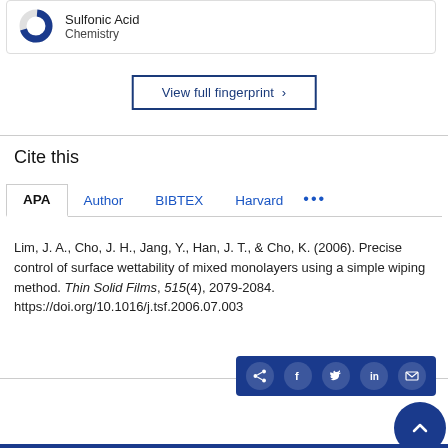[Figure (donut-chart): Partial donut chart icon for Sulfonic Acid, Chemistry fingerprint entry]
Sulfonic Acid
Chemistry
View full fingerprint ›
Cite this
APA  Author  BIBTEX  Harvard  ...
Lim, J. A., Cho, J. H., Jang, Y., Han, J. T., & Cho, K. (2006). Precise control of surface wettability of mixed monolayers using a simple wiping method. Thin Solid Films, 515(4), 2079-2084. https://doi.org/10.1016/j.tsf.2006.07.003
[Figure (infographic): Social share bar with share, Facebook, Twitter, LinkedIn, email icons on dark blue background, plus scroll-to-top circular button]